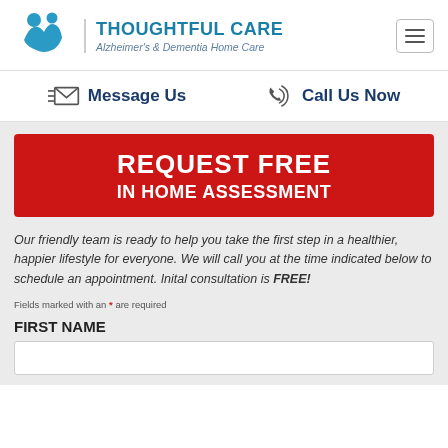[Figure (logo): Thoughtful Care logo with two figures and text 'THOUGHTFUL CARE Alzheimer's & Dementia Home Care']
Message Us
Call Us Now
REQUEST FREE IN HOME ASSESSMENT
Our friendly team is ready to help you take the first step in a healthier, happier lifestyle for everyone. We will call you at the time indicated below to schedule an appointment. Inital consultation is FREE!
Fields marked with an * are required
FIRST NAME